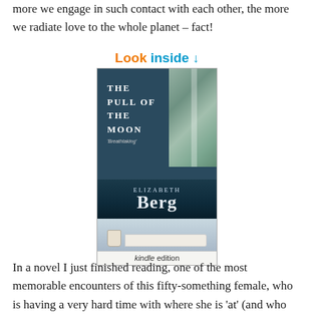more we engage in such contact with each other, the more we radiate love to the whole planet – fact!
[Figure (photo): Book cover for 'The Pull of the Moon' by Elizabeth Berg, shown as a Kindle edition with a 'Look inside' prompt above it. The cover shows curtains and a mug on a table.]
In a novel I just finished reading, one of the most memorable encounters of this fifty-something female, who is having a very hard time with where she is 'at' (and who